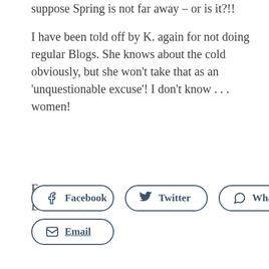suppose Spring is not far away – or is it?!!
I have been told off by K. again for not doing regular Blogs.  She knows about the cold obviously, but she won't take that as an 'unquestionable excuse'!  I don't know . . . women!
For now
David
[Figure (other): Social share buttons: Facebook, Twitter, WhatsApp, Email. WhatsApp button has an upward arrow annotation below it.]